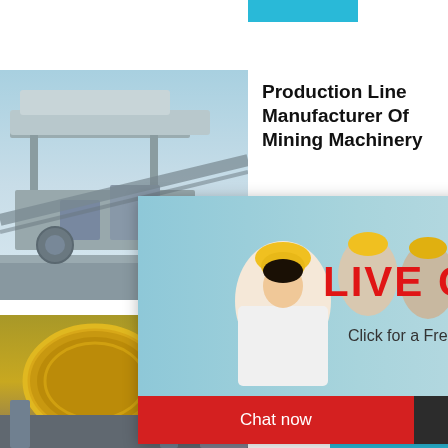[Figure (photo): Cyan/teal header bar at top of page]
[Figure (photo): Industrial mining machinery / production line equipment photo on left side]
Production Line Manufacturer Of Mining Machinery
e Crushing
[Figure (photo): Live Chat popup overlay with workers in hard hats. Shows LIVE CHAT heading in red, 'Click for a Free Consultation' text, Chat now (red button) and Chat later (dark button), and close X button]
hour online
[Figure (photo): Cone crusher machine image on blue background on right panel]
Click me to chat>>
Enquiry
limingjlmofen
[Figure (photo): Ball mill / rotating drum industrial equipment photo, bottom left]
Stone C Kaolini
Stone Cr